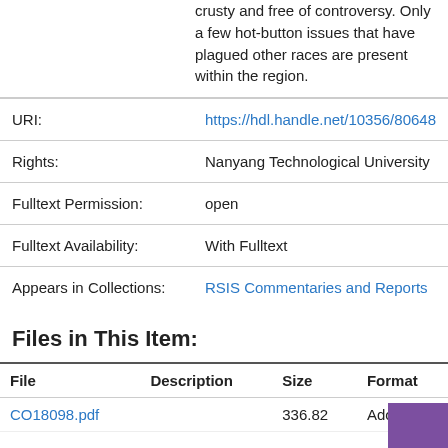crusty and free of controversy. Only a few hot-button issues that have plagued other races are present within the region.
| Field | Value |
| --- | --- |
| URI: | https://hdl.handle.net/10356/80648 |
| Rights: | Nanyang Technological University |
| Fulltext Permission: | open |
| Fulltext Availability: | With Fulltext |
| Appears in Collections: | RSIS Commentaries and Reports |
Files in This Item:
| File | Description | Size | Format |
| --- | --- | --- | --- |
| CO18098.pdf |  | 336.82 | Adobe |